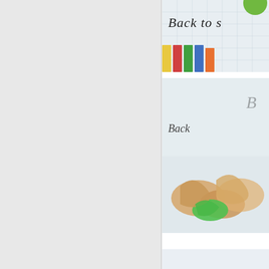[Figure (photo): Back to school photo with colored pencils and grid paper with cursive writing 'Back to s...']
[Figure (photo): Photo of colorful pencil shavings on white background with cursive letter 'B' visible at top]
[Figure (photo): Close-up photo of colorful pencil shavings with green pencil on white surface]
Continue Reading »   0 Commen...
Education - 7 HO...